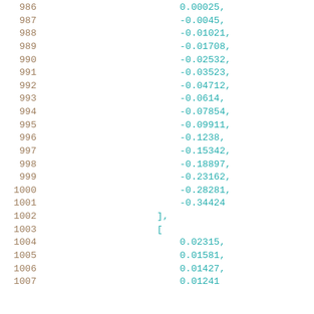986    0.00025,
987    -0.0045,
988    -0.01021,
989    -0.01708,
990    -0.02532,
991    -0.03523,
992    -0.04712,
993    -0.0614,
994    -0.07854,
995    -0.09911,
996    -0.1238,
997    -0.15342,
998    -0.18897,
999    -0.23162,
1000   -0.28281,
1001   -0.34424
1002   ],
1003   [
1004       0.02315,
1005       0.01581,
1006       0.01427,
1007       0.01241